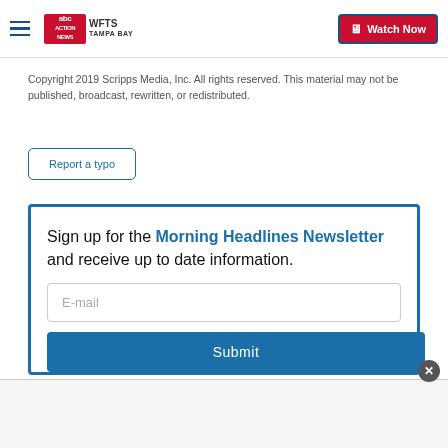WFTS ABC Tampa Bay | Watch Now
Copyright 2019 Scripps Media, Inc. All rights reserved. This material may not be published, broadcast, rewritten, or redistributed.
Report a typo
Sign up for the Morning Headlines Newsletter and receive up to date information.
E-mail
Submit